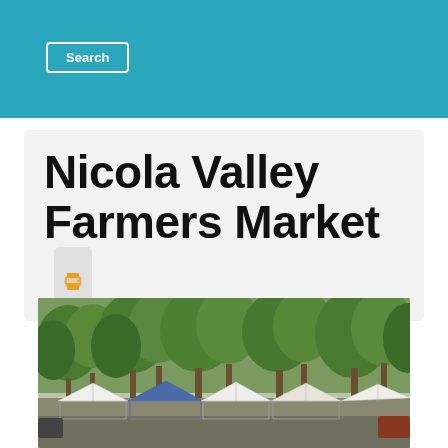Search
Nicola Valley Farmers Market
[Figure (photo): Outdoor farmers market with white and blue pop-up canopy tents lined up in a parking area, surrounded by tall green deciduous trees in summer.]